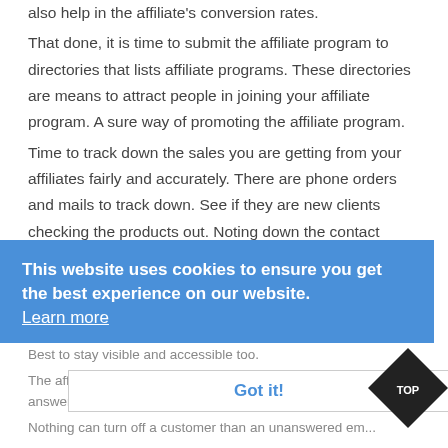also help in the affiliate's conversion rates.
That done, it is time to submit the affiliate program to directories that lists affiliate programs. These directories are means to attract people in joining your affiliate program. A sure way of promoting the affiliate program.
Time to track down the sales you are getting from your affiliates fairly and accurately. There are phone orders and mails to track down. See if they are new clients checking the products out. Noting down the contact information that might be a viable source in the future.
There are lots of resources to sort out. Ads, banners, button ads and sample recommendations to give out because the marketer knows that this is one way of ensuring more sales.
Best to stay visible and accessible too.
The affiliate marketer remembered that there are questions to answer from the visitors. This has to be done quickly. Nothing can turn off a customer than an unanswered email
This website uses cookies to ensure you get the best experience on our website. Learn more
Got it!